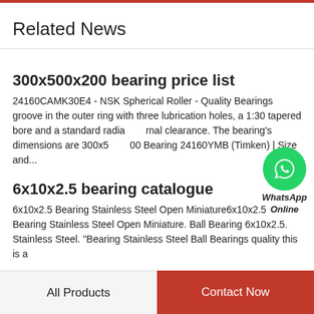Related News
300x500x200 bearing price list
24160CAMK30E4 - NSK Spherical Roller - Quality Bearings groove in the outer ring with three lubrication holes, a 1:30 tapered bore and a standard radial internal clearance. The bearing's dimensions are 300x500x200 Bearing 24160YMB (Timken) | Size and...
[Figure (illustration): WhatsApp Online button with green phone icon and italic text 'WhatsApp Online']
6x10x2.5 bearing catalogue
6x10x2.5 Bearing Stainless Steel Open Miniature6x10x2.5 Bearing Stainless Steel Open Miniature. Ball Bearing 6x10x2.5. Stainless Steel. "Bearing Stainless Steel Ball Bearings quality this is a
All Products    Contact Now